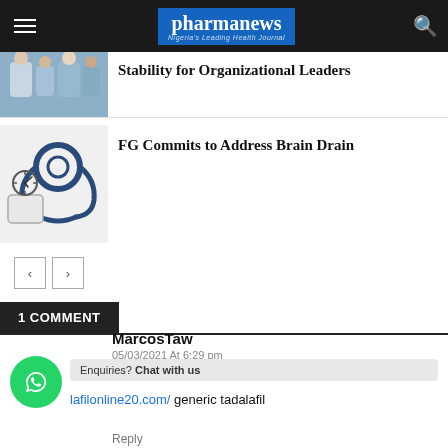pharmanews — Nigeria's Leading Health Journal
Stability for Organizational Leaders
[Figure (photo): Group of people in medical/professional attire]
[Figure (photo): Stethoscope and blood pressure monitor on paper]
FG Commits to Address Brain Drain
1 COMMENT
MarcosTaw
05/03/2021 At 6:29 pm
lafilonline20.com/ generic tadalafil
Enquiries? Chat with us
Reply